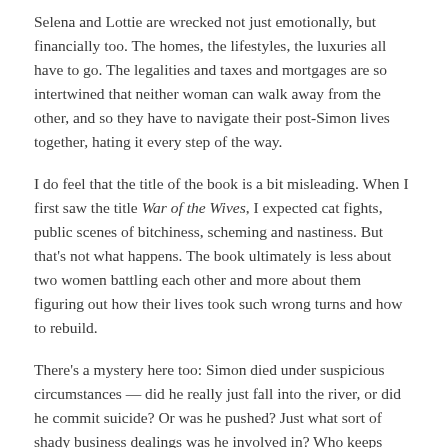Selena and Lottie are wrecked not just emotionally, but financially too. The homes, the lifestyles, the luxuries all have to go. The legalities and taxes and mortgages are so intertwined that neither woman can walk away from the other, and so they have to navigate their post-Simon lives together, hating it every step of the way.
I do feel that the title of the book is a bit misleading. When I first saw the title War of the Wives, I expected cat fights, public scenes of bitchiness, scheming and nastiness. But that's not what happens. The book ultimately is less about two women battling each other and more about them figuring out how their lives took such wrong turns and how to rebuild.
There's a mystery here too: Simon died under suspicious circumstances — did he really just fall into the river, or did he commit suicide? Or was he pushed? Just what sort of shady business dealings was he involved in? Who keeps sending Selena all these random spam texts and emails? Who broke into Lottie's flat? It all